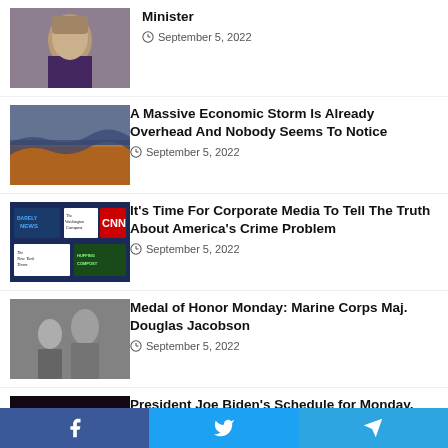[Figure (photo): Woman speaking, partial view, top article]
Minister
September 5, 2022
[Figure (photo): Desert storm landscape with dark clouds]
A Massive Economic Storm Is Already Overhead And Nobody Seems To Notice
September 5, 2022
[Figure (photo): Collage of media logos: Barely News, The Washington Compost, CNN, The New York Times, Huffing Compost]
It's Time For Corporate Media To Tell The Truth About America's Crime Problem
September 5, 2022
[Figure (photo): Black and white photo of military figures]
Medal of Honor Monday: Marine Corps Maj. Douglas Jacobson
September 5, 2022
[Figure (photo): President Biden at podium with presidential seal, dark red background]
President Joe Biden's Schedule for Monday, September 5, 2022
September 5, 2022